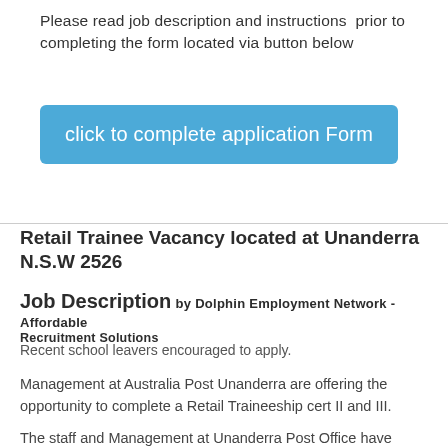Please read job description and instructions prior to completing the form located via button below
[Figure (other): A blue rounded rectangle button with white text reading 'click to complete application Form']
Retail Trainee Vacancy located at Unanderra N.S.W 2526
Job Description by Dolphin Employment Network - Affordable Recruitment Solutions
Recent school leavers encouraged to apply.
Management at Australia Post Unanderra are offering the opportunity to complete a Retail Traineeship cert II and III.
The staff and Management at Unanderra Post Office have created a fun learning environment with opportunity for acquiring qualification and experience to prepare you for positions and a career through